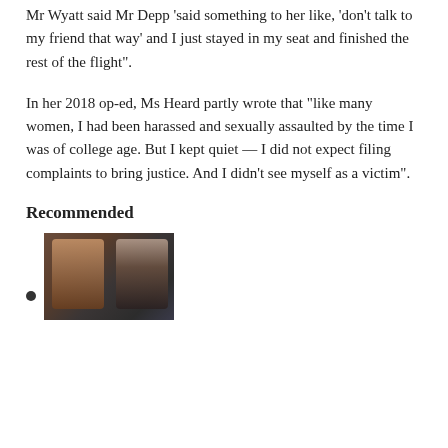Mr Wyatt said Mr Depp 'said something to her like, 'don't talk to my friend that way' and I just stayed in my seat and finished the rest of the flight".
In her 2018 op-ed, Ms Heard partly wrote that “like many women, I had been harassed and sexually assaulted by the time I was of college age. But I kept quiet — I did not expect filing complaints to bring justice. And I didn’t see myself as a victim”.
Recommended
[Figure (photo): A photo showing two people side by side, appearing to be Amber Heard and Johnny Depp in a courtroom setting.]